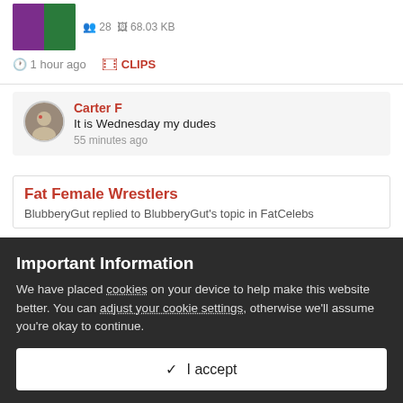[Figure (screenshot): Thumbnail image split into two halves: purple/magenta on left, green on right]
28  68.03 KB
1 hour ago
CLIPS
Carter F
It is Wednesday my dudes
55 minutes ago
Fat Female Wrestlers
BlubberyGut replied to BlubberyGut's topic in FatCelebs
Important Information
We have placed cookies on your device to help make this website better. You can adjust your cookie settings, otherwise we'll assume you're okay to continue.
✓  I accept